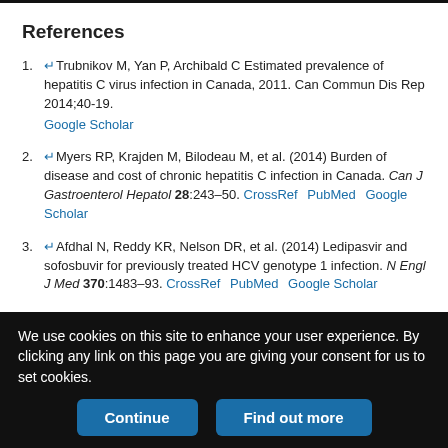References
↵Trubnikov M, Yan P, Archibald C Estimated prevalence of hepatitis C virus infection in Canada, 2011. Can Commun Dis Rep 2014;40-19. Google Scholar
↵Myers RP, Krajden M, Bilodeau M, et al. (2014) Burden of disease and cost of chronic hepatitis C infection in Canada. Can J Gastroenterol Hepatol 28:243–50. CrossRef PubMed Google Scholar
↵Afdhal N, Reddy KR, Nelson DR, et al. (2014) Ledipasvir and sofosbuvir for previously treated HCV genotype 1 infection. N Engl J Med 370:1483–93. CrossRef PubMed Google Scholar
Afdhal N, Zeuzem S, Kwo P, et al. (2014) ION-1 Investigators. Ledipasvir
We use cookies on this site to enhance your user experience. By clicking any link on this page you are giving your consent for us to set cookies.